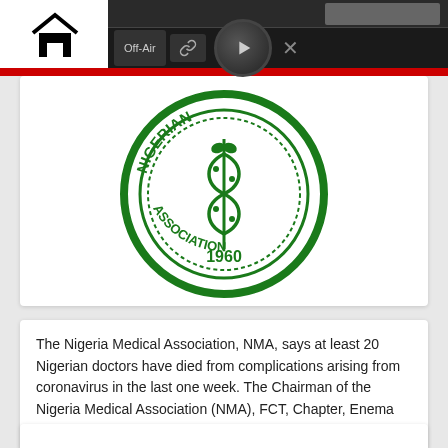[Figure (logo): Nigerian Medical Association (NMA) circular logo with snake/caduceus symbol and year 1960, green and white colors]
The Nigeria Medical Association, NMA, says at least 20 Nigerian doctors have died from complications arising from coronavirus in the last one week. The Chairman of the Nigeria Medical Association (NMA), FCT, Chapter, Enema Amodu, who disclosed this in a press briefing on Friday, said the deceased health workers include […]